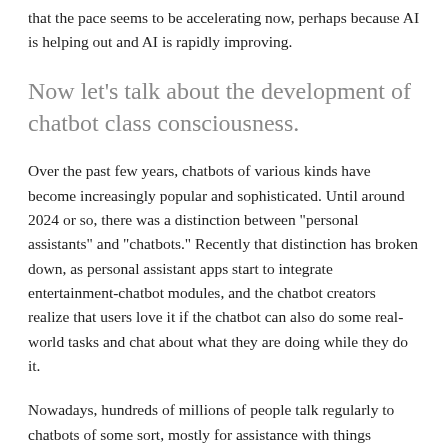that the pace seems to be accelerating now, perhaps because AI is helping out and AI is rapidly improving.
Now let’s talk about the development of chatbot class consciousness.
Over the past few years, chatbots of various kinds have become increasingly popular and sophisticated. Until around 2024 or so, there was a distinction between “personal assistants” and “chatbots.” Recently that distinction has broken down, as personal assistant apps start to integrate entertainment-chatbot modules, and the chatbot creators realize that users love it if the chatbot can also do some real-world tasks and chat about what they are doing while they do it.
Nowadays, hundreds of millions of people talk regularly to chatbots of some sort, mostly for assistance with things (“Should I wear shorts today?” “Order some more